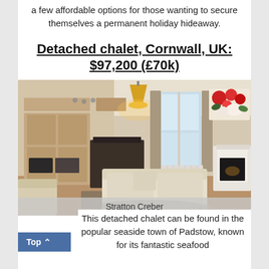a few affordable options for those wanting to secure themselves a permanent holiday hideaway.
Detached chalet, Cornwall, UK: $97,200 (£70k)
[Figure (photo): Interior photo of a detached chalet showing an open-plan living room and kitchen with cream sofas, wooden cabinets, a yellow pendant light, floral wall art, and a fireplace. Caption reads 'Stratton Creber'.]
Stratton Creber
This detached chalet can be found in the popular seaside town of Padstow, known for its fantastic seafood